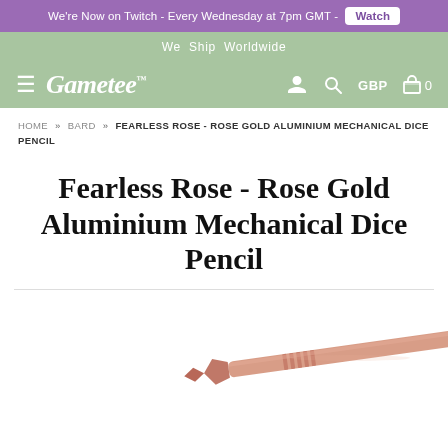We're Now on Twitch - Every Wednesday at 7pm GMT - Watch
We Ship Worldwide
Gametee™  GBP  0
HOME » BARD » FEARLESS ROSE - ROSE GOLD ALUMINIUM MECHANICAL DICE PENCIL
Fearless Rose - Rose Gold Aluminium Mechanical Dice Pencil
[Figure (photo): Photo of a rose gold aluminium mechanical dice pencil — a metallic rose-gold pencil with a dice-shaped tip, shown partially cropped at bottom right of the page.]